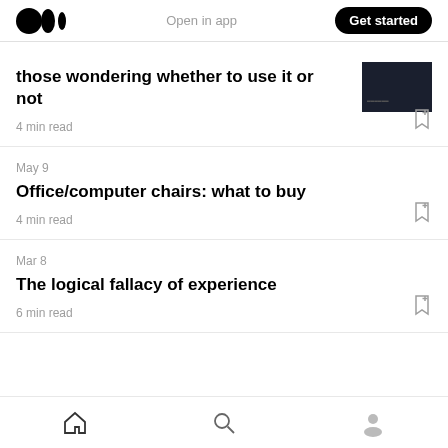Medium logo | Open in app | Get started
those wondering whether to use it or not
4 min read
May 9
Office/computer chairs: what to buy
4 min read
Mar 8
The logical fallacy of experience
6 min read
Home | Search | Profile